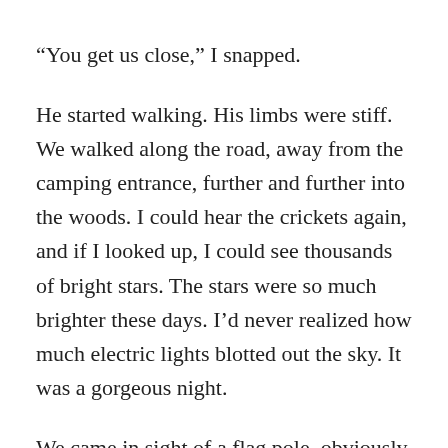“You get us close,” I snapped.
He started walking. His limbs were stiff. We walked along the road, away from the camping entrance, further and further into the woods. I could hear the crickets again, and if I looked up, I could see thousands of bright stars. The stars were so much brighter these days. I’d never realized how much electric lights blotted out the sky. It was a gorgeous night.
We came in sight of a flag pole, obviously another entrance to the park. The guard veered off the road then and led us into the woods. He tramped over the leaves and branches, making a lot of